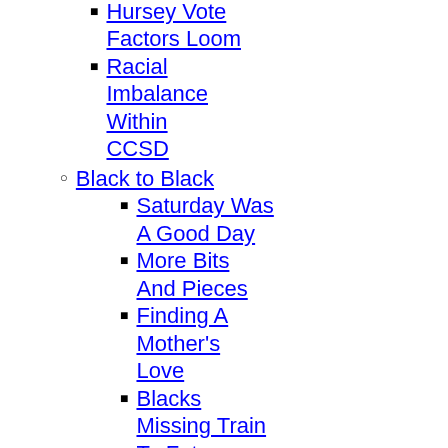Business
Hursey Vote Factors Loom
Racial Imbalance Within CCSD
Black to Black
Saturday Was A Good Day
More Bits And Pieces
Finding A Mother's Love
Blacks Missing Train To Future
Racial Profiling - Crying Wolf
Black Organizations & Crime
Black